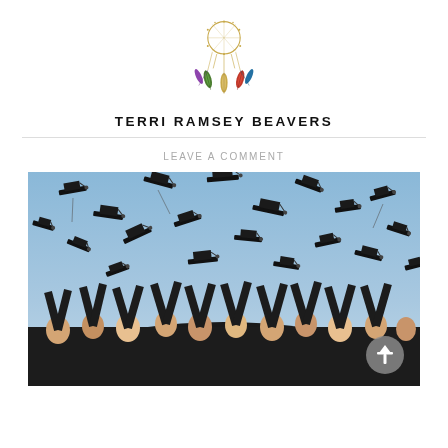[Figure (logo): Terri Ramsey Beavers blog logo - dreamcatcher illustration with feathers and beads in gold, green, and earth tones]
TERRI RAMSEY BEAVERS
LEAVE A COMMENT
[Figure (photo): Graduation ceremony photo showing a large group of graduates in black gowns and caps tossing their mortarboard caps into a blue sky]